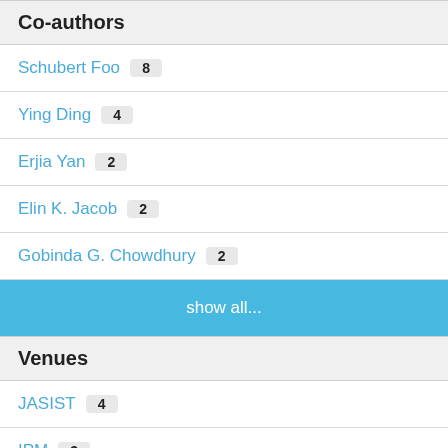Co-authors
Schubert Foo  8
Ying Ding  4
Erjia Yan  2
Elin K. Jacob  2
Gobinda G. Chowdhury  2
show all...
Venues
JASIST  4
IPM  3
WWWJ  1